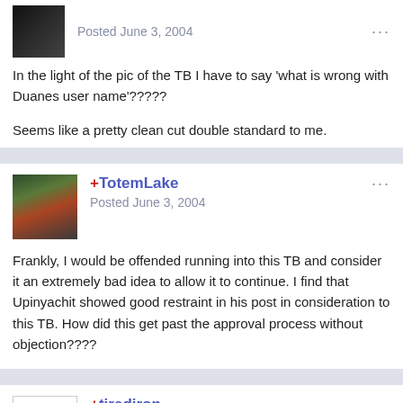Posted June 3, 2004
In the light of the pic of the TB I have to say 'what is wrong with Duanes user name'?????
Seems like a pretty clean cut double standard to me.
+TotemLake
Posted June 3, 2004
Frankly, I would be offended running into this TB and consider it an extremely bad idea to allow it to continue. I find that Upinyachit showed good restraint in his post in consideration to this TB. How did this get past the approval process without objection????
+tirediron
Posted June 3, 2004